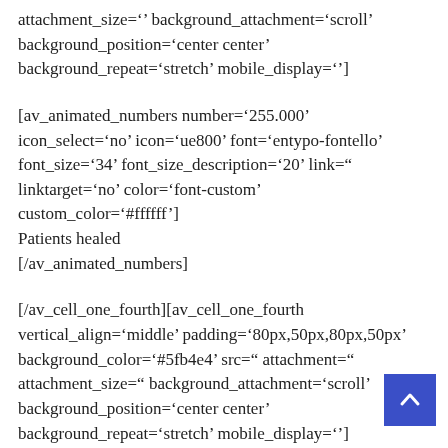attachment_size='' background_attachment='scroll' background_position='center center' background_repeat='stretch' mobile_display='']
[av_animated_numbers number='255.000' icon_select='no' icon='ue800' font='entypo-fontello' font_size='34' font_size_description='20' link='' linktarget='no' color='font-custom' custom_color='#ffffff'] Patients healed [/av_animated_numbers]
[/av_cell_one_fourth][av_cell_one_fourth vertical_align='middle' padding='80px,50px,80px,50px' background_color='#5fb4e4' src='' attachment='' attachment_size='' background_attachment='scroll' background_position='center center' background_repeat='stretch' mobile_display='']